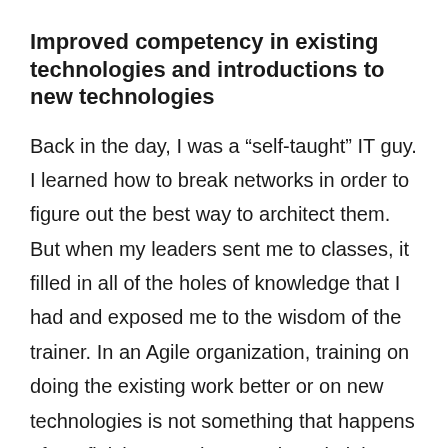Improved competency in existing technologies and introductions to new technologies
Back in the day, I was a “self-taught” IT guy. I learned how to break networks in order to figure out the best way to architect them. But when my leaders sent me to classes, it filled in all of the holes of knowledge that I had and exposed me to the wisdom of the trainer. In an Agile organization, training on doing the existing work better or on new technologies is not something that happens after I finish my 40-hour workweek, it is part of the continuous journey of improvement. And as an Agile leader, it is important to reiterate this to your